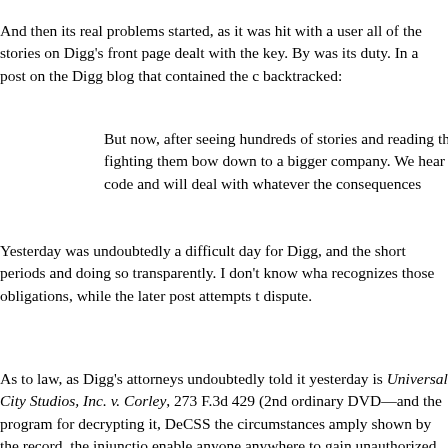And then its real problems started, as it was hit with a user all of the stories on Digg's front page dealt with the key. By was its duty. In a post on the Digg blog that contained the d backtracked:
But now, after seeing hundreds of stories and reading th fighting them bow down to a bigger company. We hear the code and will deal with whatever the consequences
Yesterday was undoubtedly a difficult day for Digg, and the short periods and doing so transparently. I don't know wha recognizes those obligations, while the later post attempts t dispute.
As to law, as Digg's attorneys undoubtedly told it yesterday is Universal City Studios, Inc. v. Corley, 273 F.3d 429 (2nd ordinary DVD—and the program for decrypting it, DeCSS the circumstances amply shown by the record, the injunctio enable anyone anywhere to gain unauthorized access to so